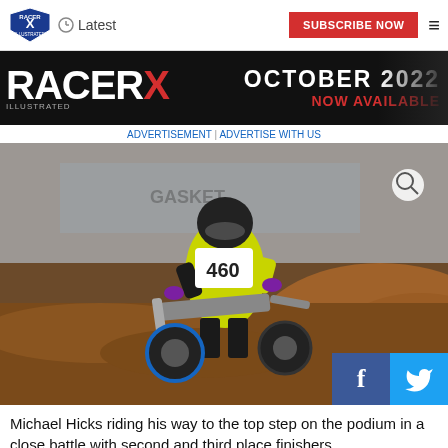Racer X | Latest | SUBSCRIBE NOW
[Figure (photo): Racer X magazine website header banner showing RACER X logo and October 2022 Now Available announcement on dark background]
ADVERTISEMENT | ADVERTISE WITH US
[Figure (photo): Motocross rider #460 Michael Hicks in yellow and black gear riding a dirt bike on an indoor track with brown dirt berms]
Michael Hicks riding his way to the top step on the podium in a close battle with second and third place finishers